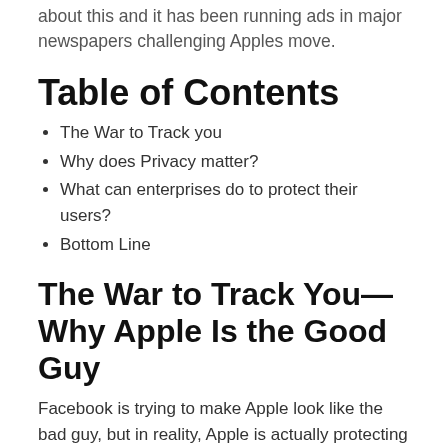about this and it has been running ads in major newspapers challenging Apples move.
Table of Contents
The War to Track you
Why does Privacy matter?
What can enterprises do to protect their users?
Bottom Line
The War to Track You—Why Apple Is the Good Guy
Facebook is trying to make Apple look like the bad guy, but in reality, Apple is actually protecting both users and enterprises by allowing them to opt out of highly intrusive tracking capabilities that are designed to